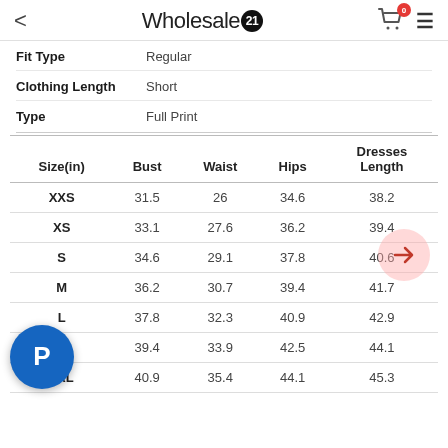Wholesale21
|  | Fit Type | Clothing Length | Type |
| --- | --- | --- | --- |
|  | Regular | Short | Full Print |
| Size(in) | Bust | Waist | Hips | Dresses Length |
| --- | --- | --- | --- | --- |
| XXS | 31.5 | 26 | 34.6 | 38.2 |
| XS | 33.1 | 27.6 | 36.2 | 39.4 |
| S | 34.6 | 29.1 | 37.8 | 40.6 |
| M | 36.2 | 30.7 | 39.4 | 41.7 |
| L | 37.8 | 32.3 | 40.9 | 42.9 |
| XL | 39.4 | 33.9 | 42.5 | 44.1 |
| 2XL | 40.9 | 35.4 | 44.1 | 45.3 |